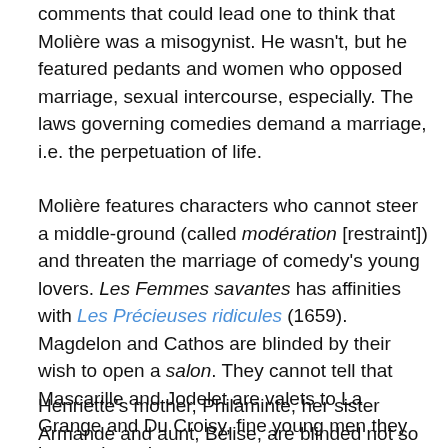comments that could lead one to think that Molière was a misogynist. He wasn't, but he featured pedants and women who opposed marriage, sexual intercourse, especially. The laws governing comedies demand a marriage, i.e. the perpetuation of life.
Molière features characters who cannot steer a middle-ground (called modération [restraint]) and threaten the marriage of comedy's young lovers. Les Femmes savantes has affinities with Les Précieuses ridicules (1659). Magdelon and Cathos are blinded by their wish to open a salon. They cannot tell that Mascarille and Jodelet are valets to La Grange and Du Croisy, fine young men they have rejected.
Henriette's mother, Philaminte, her sister Armande and aunt, Bélise, are blinded not so much by genuine